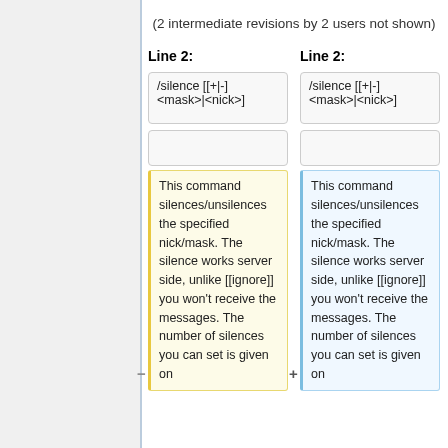(2 intermediate revisions by 2 users not shown)
Line 2:
Line 2:
/silence [[+|-] <mask>|<nick>]
/silence [[+|-] <mask>|<nick>]
This command silences/unsilences the specified nick/mask. The silence works server side, unlike [[ignore]] you won't receive the messages. The number of silences you can set is given on
This command silences/unsilences the specified nick/mask. The silence works server side, unlike [[ignore]] you won't receive the messages. The number of silences you can set is given on